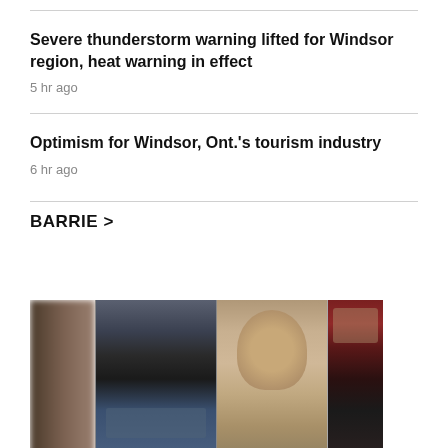Severe thunderstorm warning lifted for Windsor region, heat warning in effect
5 hr ago
Optimism for Windsor, Ont.'s tourism industry
6 hr ago
BARRIE >
[Figure (photo): Composite image of three people side by side, partially blurred, associated with Barrie news section]